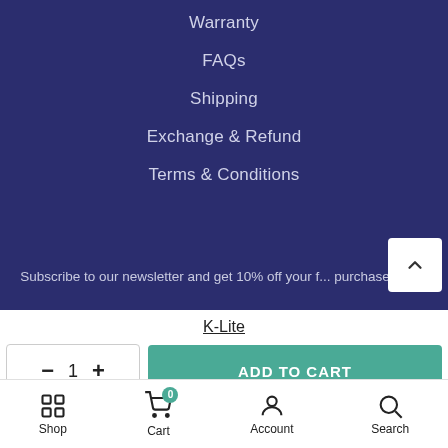Warranty
FAQs
Shipping
Exchange & Refund
Terms & Conditions
Subscribe to our newsletter and get 10% off your first purchase
K-Lite
— 1 + ADD TO CART
Shop  Cart 0  Account  Search